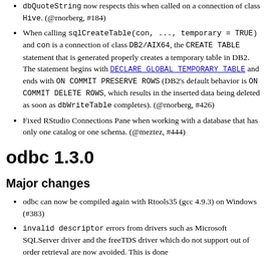dbQuoteString now respects this when called on a connection of class Hive. (@rnorberg, #184)
When calling sqlCreateTable(con, ..., temporary = TRUE) and con is a connection of class DB2/AIX64, the CREATE TABLE statement that is generated properly creates a temporary table in DB2. The statement begins with DECLARE GLOBAL TEMPORARY TABLE and ends with ON COMMIT PRESERVE ROWS (DB2's default behavior is ON COMMIT DELETE ROWS, which results in the inserted data being deleted as soon as dbWriteTable completes). (@rnorberg, #426)
Fixed RStudio Connections Pane when working with a database that has only one catalog or one schema. (@meztez, #444)
odbc 1.3.0
Major changes
odbc can now be compiled again with Rtools35 (gcc 4.9.3) on Windows (#383)
invalid descriptor errors from drivers such as Microsoft SQLServer driver and the freeTDS driver which do not support out of order retrieval are now avoided. This is done